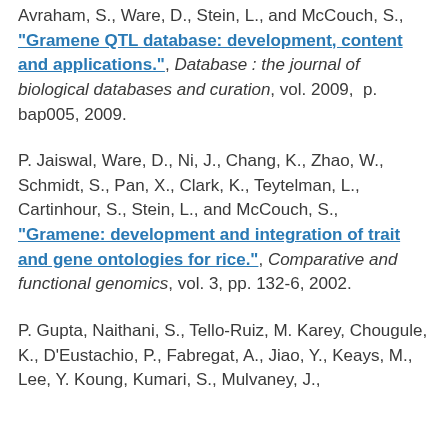Avraham, S., Ware, D., Stein, L., and McCouch, S., "Gramene QTL database: development, content and applications.", Database : the journal of biological databases and curation, vol. 2009, p. bap005, 2009.
P. Jaiswal, Ware, D., Ni, J., Chang, K., Zhao, W., Schmidt, S., Pan, X., Clark, K., Teytelman, L., Cartinhour, S., Stein, L., and McCouch, S., "Gramene: development and integration of trait and gene ontologies for rice.", Comparative and functional genomics, vol. 3, pp. 132-6, 2002.
P. Gupta, Naithani, S., Tello-Ruiz, M. Karey, Chougule, K., D'Eustachio, P., Fabregat, A., Jiao, Y., Keays, M., Lee, Y. Koung, Kumari, S., Mulvaney, J.,